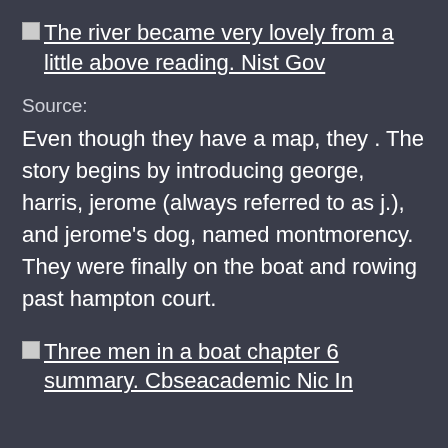The river became very lovely from a little above reading. Nist Gov
Source:
Even though they have a map, they . The story begins by introducing george, harris, jerome (always referred to as j.), and jerome's dog, named montmorency. They were finally on the boat and rowing past hampton court.
Three men in a boat chapter 6 summary. Cbseacademic Nic In